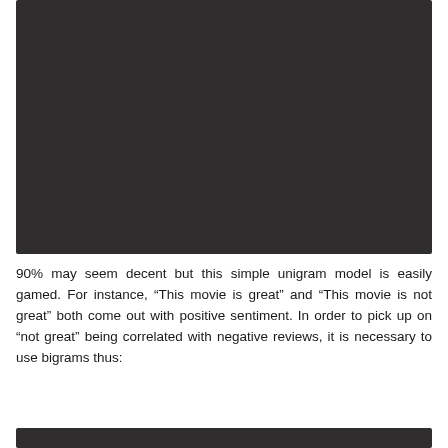[Figure (other): Dark/black rectangular image block, likely a screenshot or figure]
90% may seem decent but this simple unigram model is easily gamed. For instance, “This movie is great” and “This movie is not great” both come out with positive sentiment. In order to pick up on “not great” being correlated with negative reviews, it is necessary to use bigrams thus:
[Figure (other): Dark/black rectangular block, likely a code or figure snippet]